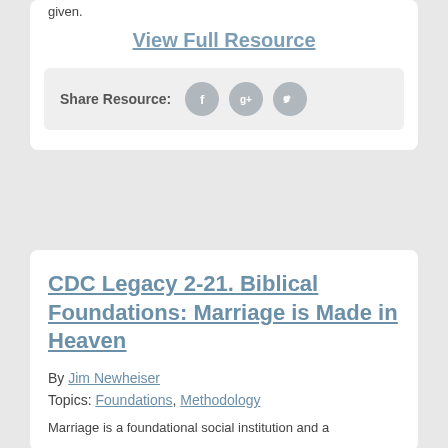given.
View Full Resource
Share Resource:
CDC Legacy 2-21. Biblical Foundations: Marriage is Made in Heaven
By Jim Newheiser
Topics: Foundations, Methodology
Marriage is a foundational social institution and a